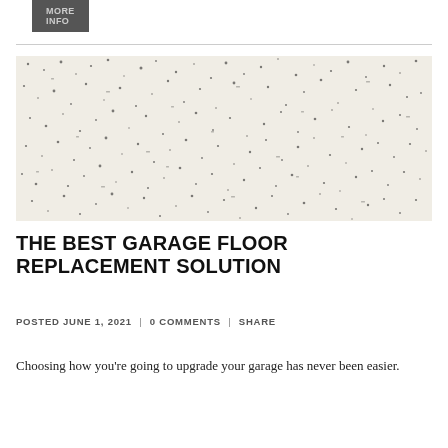More Info
[Figure (photo): Close-up photograph of a speckled white and black granite or epoxy garage floor surface texture]
THE BEST GARAGE FLOOR REPLACEMENT SOLUTION
POSTED JUNE 1, 2021  |  0 COMMENTS  |  SHARE
Choosing how you're going to upgrade your garage has never been easier.